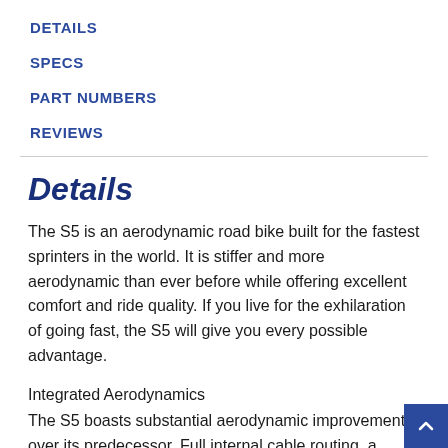DETAILS
SPECS
PART NUMBERS
REVIEWS
Details
The S5 is an aerodynamic road bike built for the fastest sprinters in the world. It is stiffer and more aerodynamic than ever before while offering excellent comfort and ride quality. If you live for the exhilaration of going fast, the S5 will give you every possible advantage.
Integrated Aerodynamics
The S5 boasts substantial aerodynamic improvements over its predecessor. Full internal cable routing, a custom bar and stem, tuned riding position, and special frame…